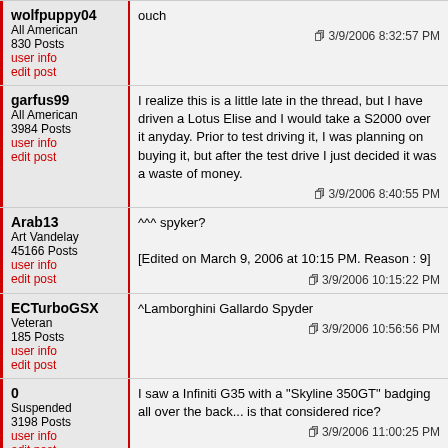wolfpuppy04 | All American | 830 Posts | user info | edit post
ouch
3/9/2006 8:32:57 PM
garfus99 | All American | 3984 Posts | user info | edit post
I realize this is a little late in the thread, but I have driven a Lotus Elise and I would take a S2000 over it anyday. Prior to test driving it, I was planning on buying it, but after the test drive I just decided it was a waste of money.
3/9/2006 8:40:55 PM
Arab13 | Art Vandelay | 45166 Posts | user info | edit post
^^^ spyker?
[Edited on March 9, 2006 at 10:15 PM. Reason : 9]
3/9/2006 10:15:22 PM
ECTurboGSX | Veteran | 185 Posts | user info | edit post
^Lamborghini Gallardo Spyder
3/9/2006 10:56:56 PM
0 | Suspended | 3198 Posts | user info | edit post
I saw a Infiniti G35 with a "Skyline 350GT" badging all over the back... is that considered rice?
3/9/2006 11:00:25 PM
Chop | All American | 6271 Posts
its to tell i guess because its a funny angle, but i think it was a lamborghini gelardo (sp?). i'm certain about the lamborghini, but not the rest of it...